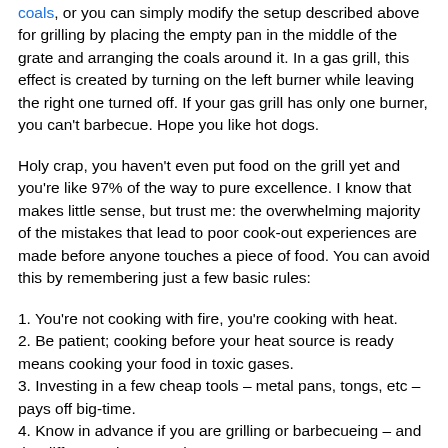coals, or you can simply modify the setup described above for grilling by placing the empty pan in the middle of the grate and arranging the coals around it. In a gas grill, this effect is created by turning on the left burner while leaving the right one turned off. If your gas grill has only one burner, you can't barbecue. Hope you like hot dogs.
Holy crap, you haven't even put food on the grill yet and you're like 97% of the way to pure excellence. I know that makes little sense, but trust me: the overwhelming majority of the mistakes that lead to poor cook-out experiences are made before anyone touches a piece of food. You can avoid this by remembering just a few basic rules:
1. You're not cooking with fire, you're cooking with heat.
2. Be patient; cooking before your heat source is ready means cooking your food in toxic gases.
3. Investing in a few cheap tools – metal pans, tongs, etc – pays off big-time.
4. Know in advance if you are grilling or barbecueing – and the difference between the two.